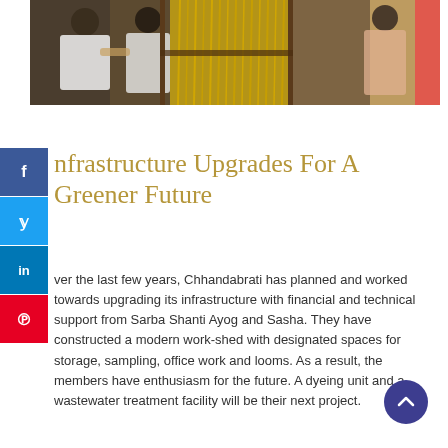[Figure (photo): Women working at traditional weaving looms, handling threads and fabric in a workshop setting.]
Infrastructure Upgrades For A Greener Future
Over the last few years, Chhandabrati has planned and worked towards upgrading its infrastructure with financial and technical support from Sarba Shanti Ayog and Sasha. They have constructed a modern work-shed with designated spaces for storage, sampling, office work and looms. As a result, the members have enthusiasm for the future. A dyeing unit and a wastewater treatment facility will be their next project.